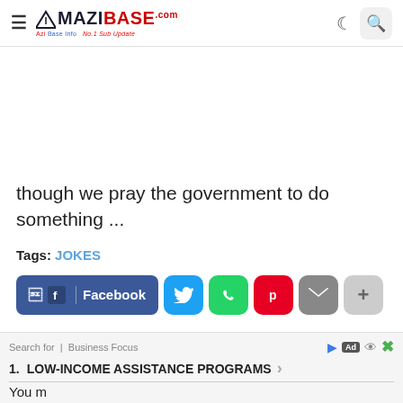MAZIBASE.com
though we pray the government to do something ...
Tags: JOKES
[Figure (other): Social share buttons: Facebook, Twitter, WhatsApp, Pinterest, Email, More]
[Figure (screenshot): Advertisement banner: Search for | Business Focus. 1. LOW-INCOME ASSISTANCE PROGRAMS]
You m